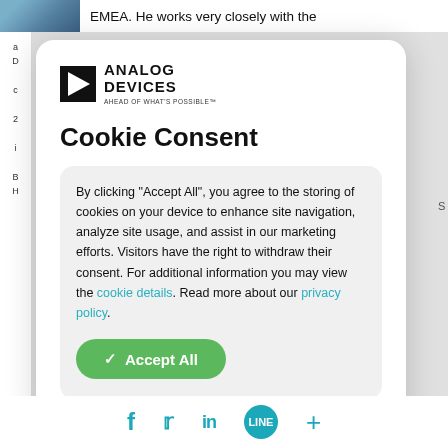EMEA. He works very closely with the
[Figure (logo): Analog Devices logo with triangle play-button icon and text 'ANALOG DEVICES — AHEAD OF WHAT'S POSSIBLE']
Cookie Consent
By clicking “Accept All”, you agree to the storing of cookies on your device to enhance site navigation, analyze site usage, and assist in our marketing efforts. Visitors have the right to withdraw their consent. For additional information you may view the cookie details. Read more about our privacy policy.
✓ Accept All